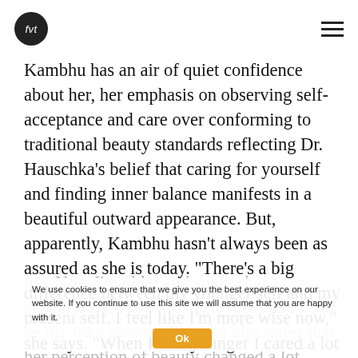fvt [logo] [hamburger menu]
Kambhu has an air of quiet confidence about her, her emphasis on observing self-acceptance and care over conforming to traditional beauty standards reflecting Dr. Hauschka’s belief that caring for yourself and finding inner balance manifests in a beautiful outward appearance. But, apparently, Kambhu hasn’t always been as assured as she is today. “There’s a big difference between my younger self and my present self. I feel like I’m more wise now,” she says. “When I was younger I cared a lot about how I looked and what people thought about
me. Now I’m older and somewhat accomplished in my career, I feel like I can be my own person. Kambhu also notes that her perception of beauty changed a lot when she started modelling and started working in an environment where practicality
We use cookies to ensure that we give you the best experience on our website. If you continue to use this site we will assume that you are happy with it.